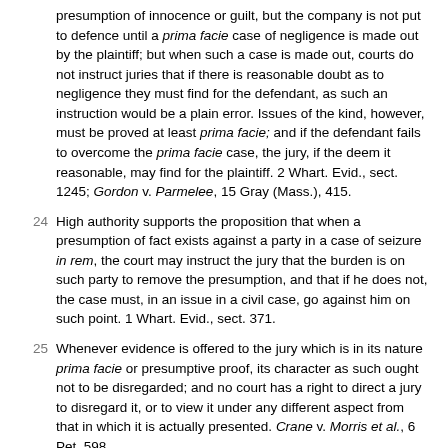presumption of innocence or guilt, but the company is not put to defence until a prima facie case of negligence is made out by the plaintiff; but when such a case is made out, courts do not instruct juries that if there is reasonable doubt as to negligence they must find for the defendant, as such an instruction would be a plain error. Issues of the kind, however, must be proved at least prima facie; and if the defendant fails to overcome the prima facie case, the jury, if the deem it reasonable, may find for the plaintiff. 2 Whart. Evid., sect. 1245; Gordon v. Parmelee, 15 Gray (Mass.), 415.
24 High authority supports the proposition that when a presumption of fact exists against a party in a case of seizure in rem, the court may instruct the jury that the burden is on such party to remove the presumption, and that if he does not, the case must, in an issue in a civil case, go against him on such point. 1 Whartl. Evid., sect. 371.
25 Whenever evidence is offered to the jury which is in its nature prima facie or presumptive proof, its character as such ought not to be disregarded; and no court has a right to direct a jury to disregard it, or to view it under any different aspect from that in which it is actually presented. Crane v. Morris et al., 6 Pet. 598.
26 Prima facie evidence of a fact, says Mr. Justice Story, is such...